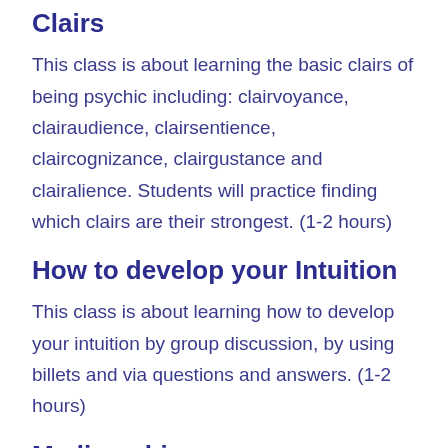Clairs
This class is about learning the basic clairs of being psychic including: clairvoyance, clairaudience, clairsentience, claircognizance, clairgustance and clairalience. Students will practice finding which clairs are their strongest. (1-2 hours)
How to develop your Intuition
This class is about learning how to develop your intuition by group discussion, by using billets and via questions and answers. (1-2 hours)
Mediumship
This class discusses how to be a medium, what it